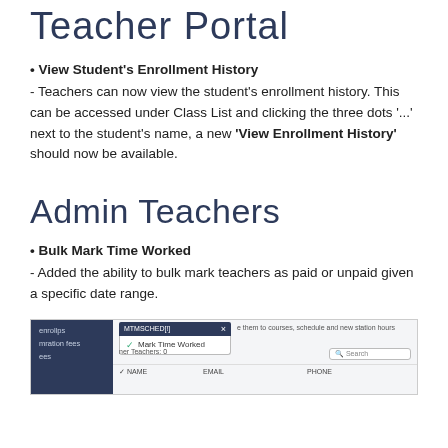Teacher Portal
• View Student's Enrollment History
- Teachers can now view the student's enrollment history. This can be accessed under Class List and clicking the three dots '...' next to the student's name, a new 'View Enrollment History' should now be available.
Admin Teachers
• Bulk Mark Time Worked
- Added the ability to bulk mark teachers as paid or unpaid given a specific date range.
[Figure (screenshot): Screenshot of admin teacher interface showing a dropdown menu with 'Mark Time Worked' option, columns for NAME, EMAIL, and PHONE, with a sidebar navigation and search bar.]